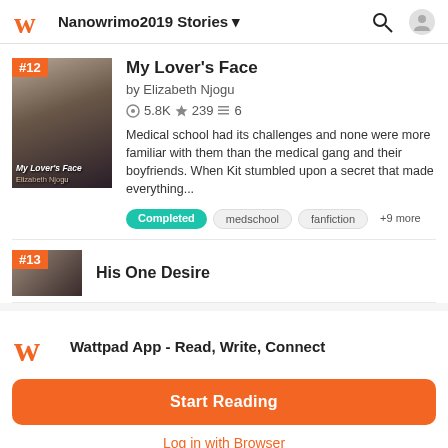Nanowrimo2019 Stories
My Lover's Face
by Elizabeth Njogu
5.8K ★239 6
Medical school had its challenges and none were more familiar with them than the medical gang and their boyfriends. When Kit stumbled upon a secret that made everything...
Completed
medschool
fanfiction
+9 more
His One Desire
Wattpad App - Read, Write, Connect
Start Reading
Log in with Browser